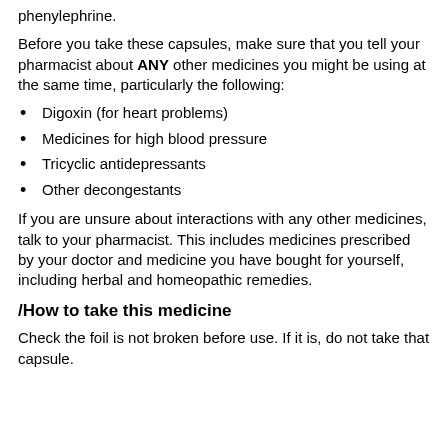phenylephrine.
Before you take these capsules, make sure that you tell your pharmacist about ANY other medicines you might be using at the same time, particularly the following:
Digoxin (for heart problems)
Medicines for high blood pressure
Tricyclic antidepressants
Other decongestants
If you are unsure about interactions with any other medicines, talk to your pharmacist. This includes medicines prescribed by your doctor and medicine you have bought for yourself, including herbal and homeopathic remedies.
/How to take this medicine
Check the foil is not broken before use. If it is, do not take that capsule.